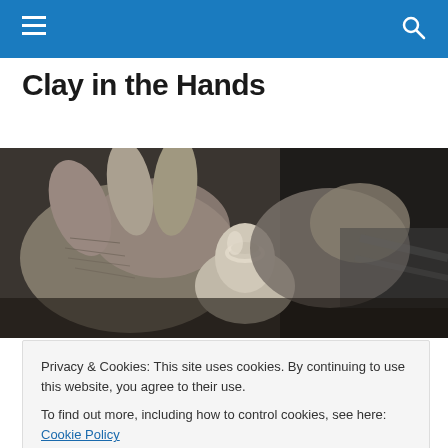Navigation bar with hamburger menu and search icon
Clay in the Hands
[Figure (photo): Black and white close-up photograph of aged hands working with clay on a pottery wheel, shaping a small ceramic piece]
Does Your Faith Save You S...
Privacy & Cookies: This site uses cookies. By continuing to use this website, you agree to their use.
To find out more, including how to control cookies, see here: Cookie Policy
and not just taking what we are told at face value. Today I